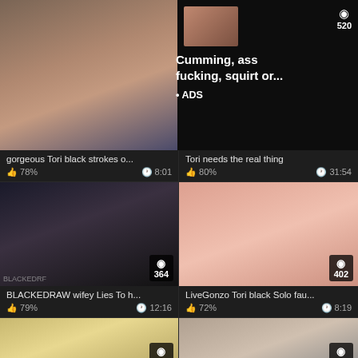[Figure (screenshot): Video thumbnail grid from adult video website. Top section shows two video thumbnails with an ad overlay. Middle row shows two video cards. Bottom row shows two more video cards partially visible.]
Cumming, ass fucking, squirt or...
• ADS
gorgeous Tori black strokes o...
Tori needs the real thing
78%   8:01
80%   31:54
BLACKEDRAW wifey Lies To h...
LiveGonzo Tori black Solo fau...
79%   12:16
72%   8:19